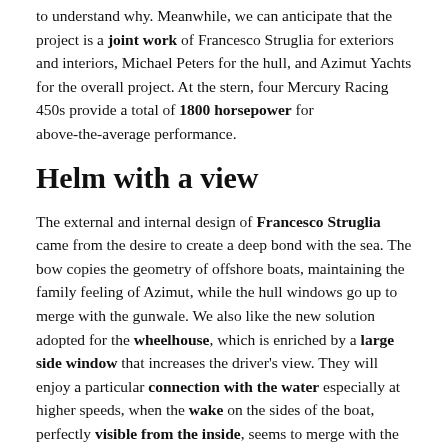to understand why. Meanwhile, we can anticipate that the project is a joint work of Francesco Struglia for exteriors and interiors, Michael Peters for the hull, and Azimut Yachts for the overall project. At the stern, four Mercury Racing 450s provide a total of 1800 horsepower for above-the-average performance.
Helm with a view
The external and internal design of Francesco Struglia came from the desire to create a deep bond with the sea. The bow copies the geometry of offshore boats, maintaining the family feeling of Azimut, while the hull windows go up to merge with the gunwale. We also like the new solution adopted for the wheelhouse, which is enriched by a large side window that increases the driver's view. They will enjoy a particular connection with the water especially at higher speeds, when the wake on the sides of the boat, perfectly visible from the inside, seems to merge with the volumes of the yacht. According to the shipyard, this solution, typical of Struglia's work, recalls some